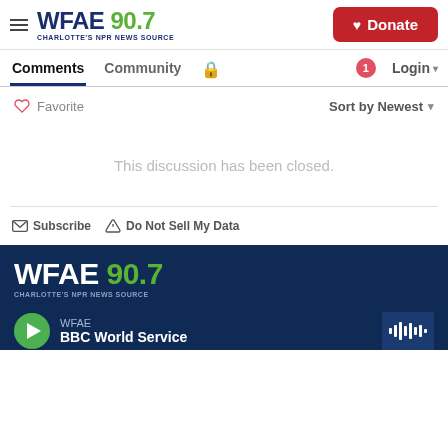WFAE 90.7 CHARLOTTE'S NPR NEWS SOURCE — Donate
Comments  Community  Login
♡ Favorite   Sort by Newest
This discussion has been closed.
Subscribe  Do Not Sell My Data
WFAE 90.7 CHARLOTTE'S NPR NEWS SOURCE — WFAE BBC World Service